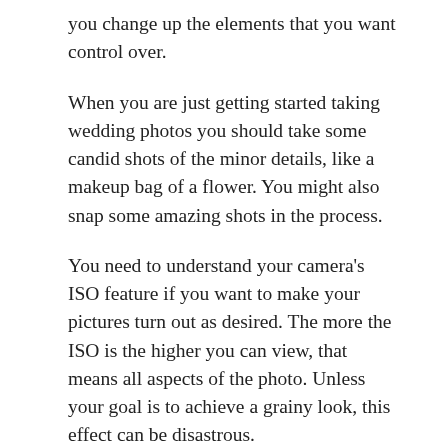you change up the elements that you want control over.
When you are just getting started taking wedding photos you should take some candid shots of the minor details, like a makeup bag of a flower. You might also snap some amazing shots in the process.
You need to understand your camera's ISO feature if you want to make your pictures turn out as desired. The more the ISO is the higher you can view, that means all aspects of the photo. Unless your goal is to achieve a grainy look, this effect can be disastrous.
Good photographs happen when your camera is kept in focus on your subject. A key building block to learning how to express your personal style through photography is understanding the importance of camera focus. Especially in the beginning, keep your subject in view and